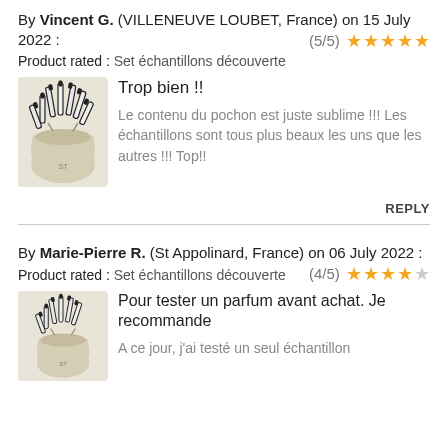By Vincent G. (VILLENEUVE LOUBET, France) on 15 July 2022 : (5/5) ★★★★★
Product rated : Set échantillons découverte
[Figure (photo): Product photo of a small fabric pouch with perfume sample vials]
Trop bien !!
Le contenu du pochon est juste sublime !!! Les échantillons sont tous plus beaux les uns que les autres !!! Top!!
REPLY
By Marie-Pierre R. (St Appolinard, France) on 06 July 2022 : (4/5) ★★★★☆
Product rated : Set échantillons découverte
[Figure (photo): Product photo of a small fabric pouch with perfume sample vials]
Pour tester un parfum avant achat. Je recommande
A ce jour, j'ai testé un seul échantillon